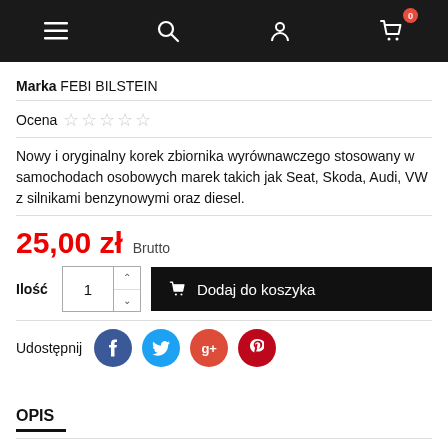Navigation bar with menu, search, account, and cart (0 items) icons
Marka FEBI BILSTEIN
Ocena ☆☆☆☆☆
Nowy i oryginalny korek zbiornika wyrównawczego stosowany w samochodach osobowych marek takich jak Seat, Skoda, Audi, VW z silnikami benzynowymi oraz diesel.
25,00 zł Brutto
Ilość 1 — Dodaj do koszyka
Udostępnij
OPIS